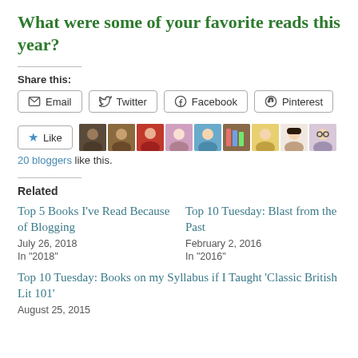What were some of your favorite reads this year?
Share this:
Email | Twitter | Facebook | Pinterest
[Figure (screenshot): Like button with star icon, followed by 9 small avatar photos of bloggers]
20 bloggers like this.
Related
Top 5 Books I've Read Because of Blogging
July 26, 2018
In "2018"
Top 10 Tuesday: Blast from the Past
February 2, 2016
In "2016"
Top 10 Tuesday: Books on my Syllabus if I Taught 'Classic British Lit 101'
August 25, 2015